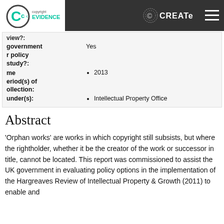Copyright Evidence | CREATe
| view?: |  |
| government policy study?: | Yes |
| Time period(s) of collection: | 2013 |
| Funder(s): | Intellectual Property Office |
Abstract
‘Orphan works’ are works in which copyright still subsists, but where the rightholder, whether it be the creator of the work or successor in title, cannot be located. This report was commissioned to assist the UK government in evaluating policy options in the implementation of the Hargreaves Review of Intellectual Property & Growth (2011) to enable and